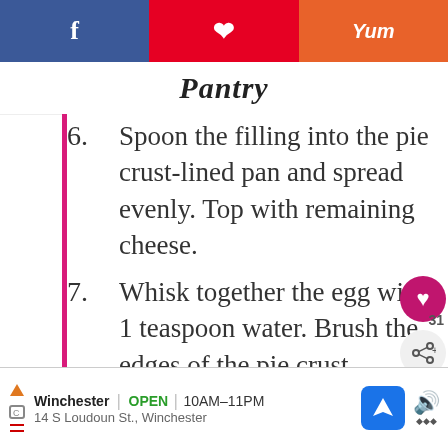Pantry
6. Spoon the filling into the pie crust-lined pan and spread evenly. Top with remaining cheese.
7. Whisk together the egg with 1 teaspoon water. Brush the edges of the pie crust. Sprinkle with everything bagel seasoning, sesame seeds, or pepper, if desired.
8. Bake for 25 minutes until the golden brown and the cheese is bubbly and lightly brown. Let cool for
Winchester OPEN | 10AM–11PM 14 S Loudoun St., Winchester